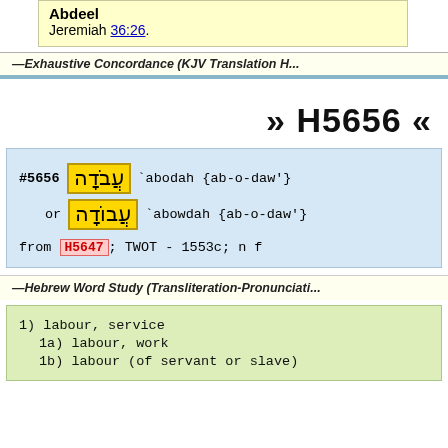Abdeel
Jeremiah 36:26.
—Exhaustive Concordance (KJV Translation H...)
» H5656 «
#5656 עֲבֹדָה `abodah {ab-o-daw'} or עֲבוֹדָה `abowdah {ab-o-daw'} from H5647; TWOT - 1553c; n f
—Hebrew Word Study (Transliteration-Pronunciati...)
1) labour, service
1a) labour, work
1b) labour (of servant or slave)